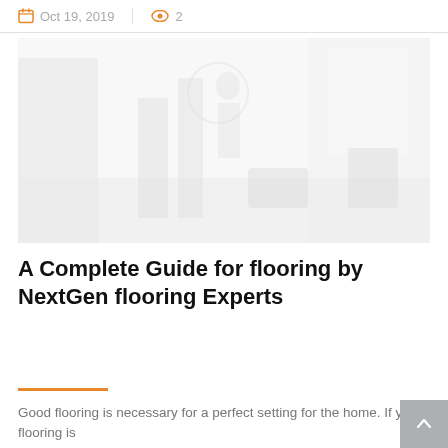Oct 19, 2019   2
[Figure (photo): A faded/light photo of a flooring showroom or store interior with display stands and flooring samples visible]
A Complete Guide for flooring by NextGen flooring Experts
Good flooring is necessary for a perfect setting for the home. If your flooring is